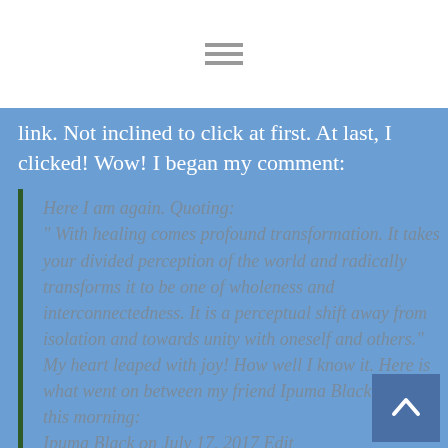link. Not inclined to click at first. At last, I clicked! Wow! I began my comment:
Here I am again. Quoting:
" With healing comes profound transformation. It takes your divided perception of the world and radically transforms it to be one of wholeness and interconnectedness. It is a perceptual shift away from isolation and towards unity with oneself and others."
My heart leaped with joy! How well I know it. Here is what went on between my friend Ipuma Black and me this morning:
Ipuna Black on July 17, 2017 Edit